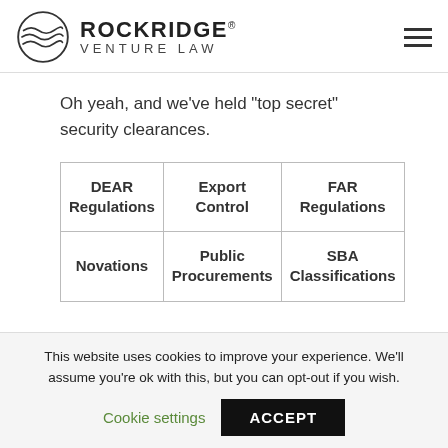Rockridge Venture Law
Oh yeah, and we’ve held “top secret” security clearances.
| DEAR
Regulations | Export
Control | FAR
Regulations |
| Novations | Public
Procurements | SBA
Classifications |
This website uses cookies to improve your experience. We'll assume you're ok with this, but you can opt-out if you wish.
Cookie settings   ACCEPT